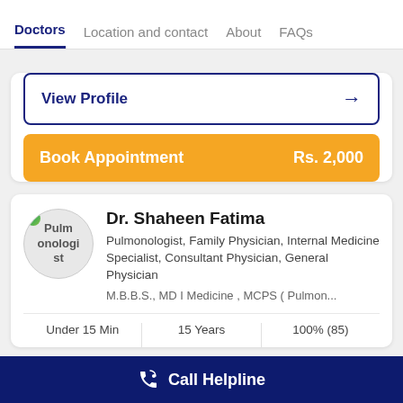Doctors | Location and contact | About | FAQs
View Profile →
Book Appointment  Rs. 2,000
Dr. Shaheen Fatima
Pulmonologist, Family Physician, Internal Medicine Specialist, Consultant Physician, General Physician
M.B.B.S., MD I Medicine , MCPS ( Pulmon...
Under 15 Min   15 Years   100% (85)
Call Helpline